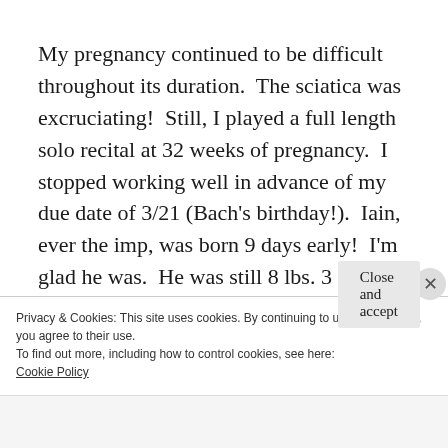My pregnancy continued to be difficult throughout its duration.  The sciatica was excruciating!  Still, I played a full length solo recital at 32 weeks of pregnancy.  I stopped working well in advance of my due date of 3/21 (Bach's birthday!).  Iain, ever the imp, was born 9 days early!  I'm glad he was.  He was still 8 lbs. 3 oz.  Had he gone to term he would have topped 10 pounds!  No thank
Privacy & Cookies: This site uses cookies. By continuing to use this website, you agree to their use.
To find out more, including how to control cookies, see here:
Cookie Policy
Close and accept